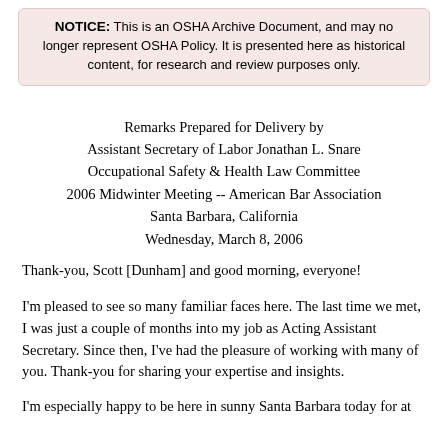NOTICE: This is an OSHA Archive Document, and may no longer represent OSHA Policy. It is presented here as historical content, for research and review purposes only.
Remarks Prepared for Delivery by Assistant Secretary of Labor Jonathan L. Snare Occupational Safety & Health Law Committee 2006 Midwinter Meeting -- American Bar Association Santa Barbara, California Wednesday, March 8, 2006
Thank-you, Scott [Dunham] and good morning, everyone!
I'm pleased to see so many familiar faces here. The last time we met, I was just a couple of months into my job as Acting Assistant Secretary. Since then, I've had the pleasure of working with many of you. Thank-you for sharing your expertise and insights.
I'm especially happy to be here in sunny Santa Barbara today for at